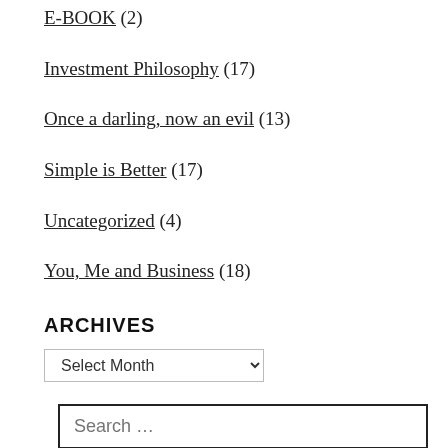E-BOOK (2)
Investment Philosophy (17)
Once a darling, now an evil (13)
Simple is Better (17)
Uncategorized (4)
You, Me and Business (18)
ARCHIVES
Select Month (dropdown)
Search …
WITH INVESTMENT GURUS
[Figure (photo): Photos of people at events related to investment gurus, showing group photos and individual portraits]